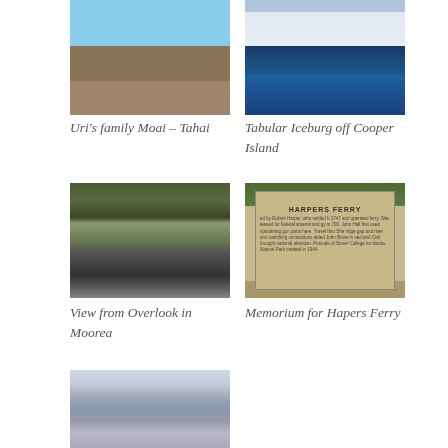[Figure (photo): Stone Moai statue against blue sky — Uri's family Moai, Tahai, Easter Island]
Uri's family Moai – Tahai
[Figure (photo): Tabular iceberg floating in dark blue ocean off Cooper Island]
Tabular Iceburg off Cooper Island
[Figure (photo): View from overlook in Moorea showing misty mountains and valley with railing in foreground]
View from Overlook in Moorea
[Figure (photo): Historical marker sign for Harpers Ferry with text about Robert Harper and history]
Memorium for Hapers Ferry
[Figure (photo): Mountain landscape with snow and grey rocky peaks]